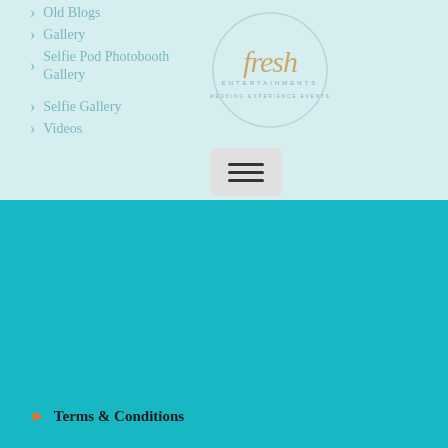Old Blogs
Gallery
Selfie Pod Photobooth Gallery
Selfie Gallery
Videos
[Figure (logo): Fresh Entertainments logo - circular with script font text]
[Figure (other): Hamburger menu button with three horizontal lines]
Terms & Conditions
CONTACT TOOLS
ENQUIRY FORM
CLIENT AREA